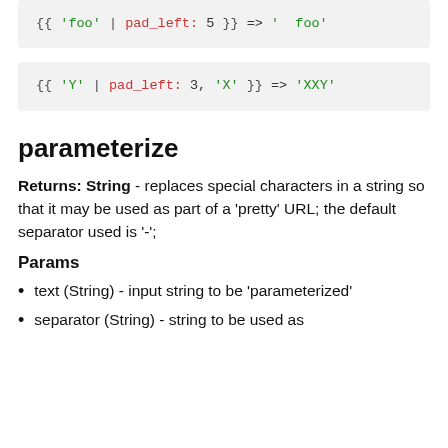{{ 'foo' | pad_left: 5 }} => '  foo'
{{ 'Y' | pad_left: 3, 'X' }} => 'XXY'
parameterize
Returns: String - replaces special characters in a string so that it may be used as part of a 'pretty' URL; the default separator used is '-';
Params
text (String) - input string to be 'parameterized'
separator (String) - string to be used as